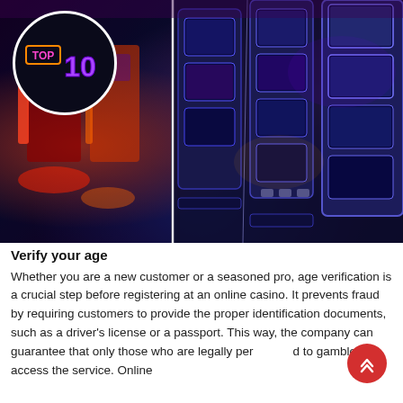[Figure (photo): Casino slot machines with colorful neon lights, blurred background on left side and sharp slot machine panels on the right. A 'TOP 10' neon badge in a white circle is overlaid in the top-left corner.]
Verify your age
Whether you are a new customer or a seasoned pro, age verification is a crucial step before registering at an online casino. It prevents fraud by requiring customers to provide the proper identification documents, such as a driver’s license or a passport. This way, the company can guarantee that only those who are legally permitted to gamble can access the service. Online